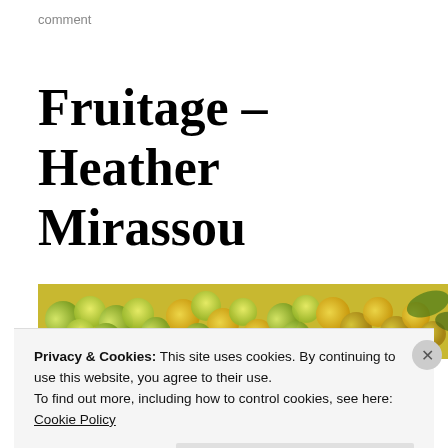comment
Fruitage – Heather Mirassou
[Figure (photo): Close-up photo of green and yellow grapes with leaves, lit warmly]
Privacy & Cookies: This site uses cookies. By continuing to use this website, you agree to their use.
To find out more, including how to control cookies, see here:
Cookie Policy
Close and accept